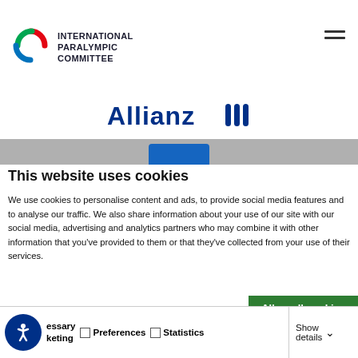INTERNATIONAL PARALYMPIC COMMITTEE
[Figure (logo): Allianz logo in blue with three interlocking bars symbol]
This website uses cookies
We use cookies to personalise content and ads, to provide social media features and to analyse our traffic. We also share information about your use of our site with our social media, advertising and analytics partners who may combine it with other information that you've provided to them or that they've collected from your use of their services.
Allow all cookies
Allow selection
Use necessary cookie
essary   Preferences   Statistics
keting
Show details